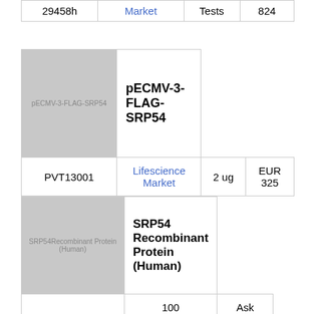| 29458h | Market | Tests | 824 |
|  | pECMV-3-FLAG-SRP54 |
| --- | --- |
| [image: pECMV-3-FLAG-SRP54] | pECMV-3-FLAG-SRP54 |
| PVT13001 | Lifescience Market | 2 ug | EUR 325 |
| [image: SRP54 Recombinant Protein (Human)] | SRP54 Recombinant Protein (Human) |
|  | 100 | Ask |